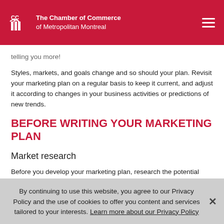The Chamber of Commerce of Metropolitan Montreal
telling you more!
Styles, markets, and goals change and so should your plan. Revisit your marketing plan on a regular basis to keep it current, and adjust it according to changes in your business activities or predictions of new trends.
BEFORE WRITING YOUR MARKETING PLAN
Market research
Before you develop your marketing plan, research the potential market for your product or service. Use the numbers, facts and findings to back up statements in your marketing plan. You can also design a questionnaire, create an online survey, and search available databases
By continuing to use this website, you agree to our Privacy Policy and the use of cookies to offer you content and services tailored to your interests. Learn more about our Privacy Policy